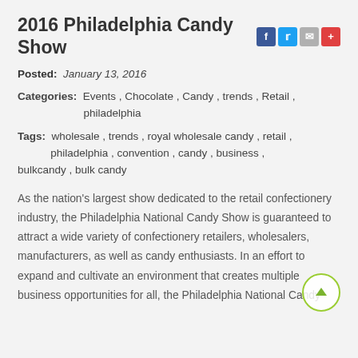2016 Philadelphia Candy Show
Posted: January 13, 2016
Categories: Events , Chocolate , Candy , trends , Retail , philadelphia
Tags: wholesale , trends , royal wholesale candy , retail , philadelphia , convention , candy , business , bulkcandy , bulk candy
As the nation's largest show dedicated to the retail confectionery industry, the Philadelphia National Candy Show is guaranteed to attract a wide variety of confectionery retailers, wholesalers, manufacturers, as well as candy enthusiasts. In an effort to expand and cultivate an environment that creates multiple business opportunities for all, the Philadelphia National Candy